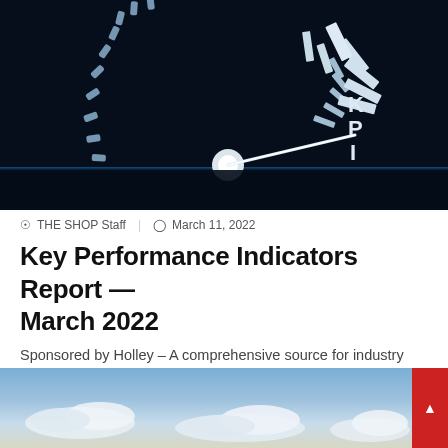[Figure (illustration): Dark background speedometer/gauge with glowing white dashed arc on the left and solid tick marks on the right side spelling 'KPI', with a white needle pointing toward the right side.]
THE SHOP Staff   March 11, 2022
Key Performance Indicators Report — March 2022
Sponsored by Holley – A comprehensive source for industry insights, exclusive interviews, new and used vehicle data, economic analysis, consumer…
[Figure (photo): Partial photo of a blue sky with white clouds, visible at the bottom of the page.]